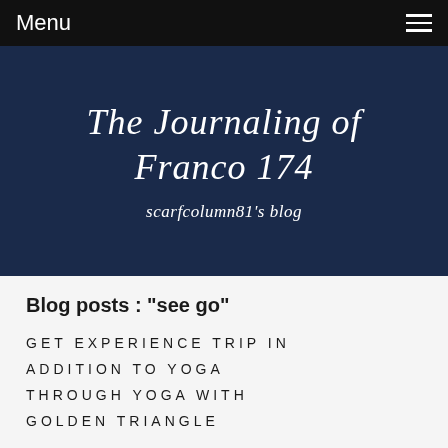Menu
The Journaling of Franco 174
scarfcolumn81's blog
Blog posts : "see go"
GET EXPERIENCE TRIP IN ADDITION TO YOGA THROUGH YOGA WITH GOLDEN TRIANGLE